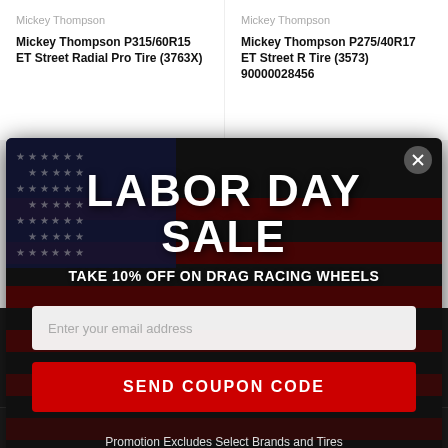Mickey Thompson
Mickey Thompson P315/60R15 ET Street Radial Pro Tire (3763X)
Mickey Thompson
Mickey Thompson P275/40R17 ET Street R Tire (3573) 90000028456
[Figure (screenshot): Labor Day Sale popup modal with American flag background, email input field, send coupon code button, and promotional text]
LABOR DAY SALE
TAKE 10% OFF ON DRAG RACING WHEELS
Enter your email address
SEND COUPON CODE
Promotion Excludes Select Brands and Tires
Offer Valid Until 9/16/22
Close Popup
Have A Question?
Mickey Thompson
Mickey Thompson
SHOW SIDEBAR +